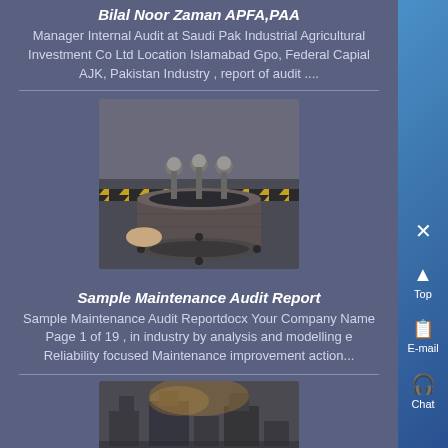Bilal Noor Zaman APFA,PAA
Manager Internal Audit at Saudi Pak Industrial Agricultural Investment Co Ltd Location Islamabad Gpo, Federal Capial AJK, Pakistan Industry , report of audit ....
[Figure (photo): Industrial metal flange or cylindrical part photographed in a workshop setting]
Sample Maintenance Audit Report
Sample Maintenance Audit Reportdocx Your Company Name Page 1 of 19 , in industry by analysis and modelling e Reliability focused Maintenance improvement action...
[Figure (photo): Industrial facility or machinery interior photograph]